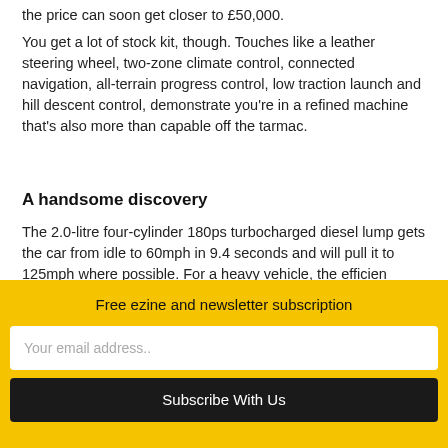the price can soon get closer to £50,000.
You get a lot of stock kit, though. Touches like a leather steering wheel, two-zone climate control, connected navigation, all-terrain progress control, low traction launch and hill descent control, demonstrate you're in a refined machine that's also more than capable off the tarmac.
A handsome discovery
The 2.0-litre four-cylinder 180ps turbocharged diesel lump gets the car from idle to 60mph in 9.4 seconds and will pull it to 125mph where possible. For a heavy vehicle, the efficien...
Free ezine and newsletter subscription
Your email address..
Subscribe With Us